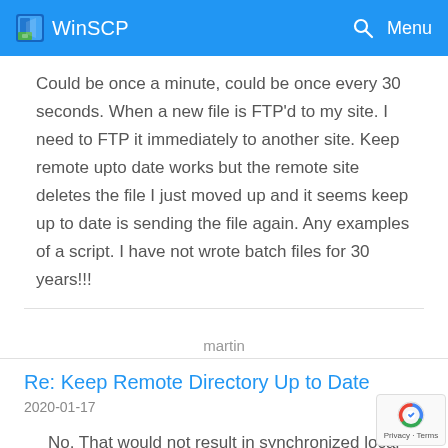WinSCP   Menu
Could be once a minute, could be once every 30 seconds. When a new file is FTP'd to my site. I need to FTP it immediately to another site. Keep remote upto date works but the remote site deletes the file I just moved up and it seems keep up to date is sending the file again. Any examples of a script. I have not wrote batch files for 30 years!!!
martin
Re: Keep Remote Directory Up to Date
2020-01-17
No. That would not result in synchronized local and remote folders. What is against the purpose of the function.